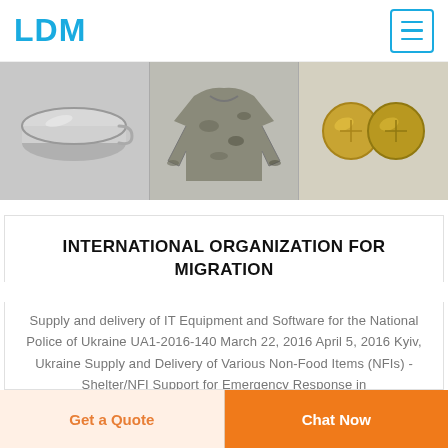LDM
[Figure (photo): Product image strip showing three items: a metal mess tin/bowl on the left, a camouflage long-sleeve shirt in the center, and two round brass coins/buttons on the right]
INTERNATIONAL ORGANIZATION FOR MIGRATION
Supply and delivery of IT Equipment and Software for the National Police of Ukraine UA1-2016-140 March 22, 2016 April 5, 2016 Kyiv, Ukraine Supply and Delivery of Various Non-Food Items (NFIs) - Shelter/NFI Support for Emergency Response in